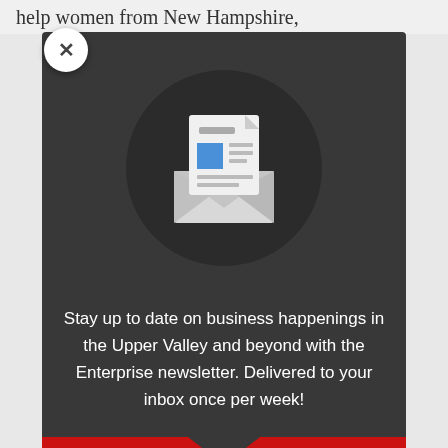help women from New Hampshire,
[Figure (illustration): Newsletter signup modal popup with a dark grey background. Contains an envelope icon with a document inside on a circular dark background, promotional text, and an email input field on a red background section.]
Stay up to date on business happenings in the Upper Valley and beyond with the Enterprise newsletter. Delivered to your inbox once per week!
Email